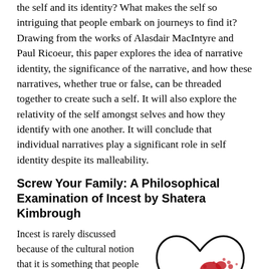the self and its identity? What makes the self so intriguing that people embark on journeys to find it? Drawing from the works of Alasdair MacIntyre and Paul Ricoeur, this paper explores the idea of narrative identity, the significance of the narrative, and how these narratives, whether true or false, can be threaded together to create such a self. It will also explore the relativity of the self amongst selves and how they identify with one another. It will conclude that individual narratives play a significant role in self identity despite its malleability.
Screw Your Family: A Philosophical Examination of Incest by Shatera Kimbrough
Incest is rarely discussed because of the cultural notion that it is something that people just shouldn't do. It is generally considered
[Figure (illustration): A hand-drawn heart outline with red paint splatter/blood drops inside, with the text 'The Forbidden Love' written inside the heart.]